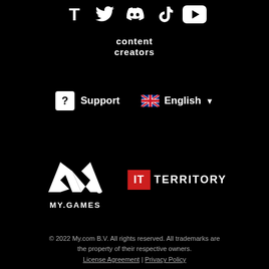[Figure (illustration): Row of white social media icons on black background: Twitch, Twitter, Discord, TikTok, YouTube]
content creators
[Figure (illustration): Support button with question mark icon and English language selector with UK flag and dropdown arrow]
[Figure (logo): MY.GAMES logo (stylized M mark with MY.GAMES text below) and IT TERRITORY logo]
© 2022 My.com B.V. All rights reserved. All trademarks are the property of their respective owners. License Agreement | Privacy Policy